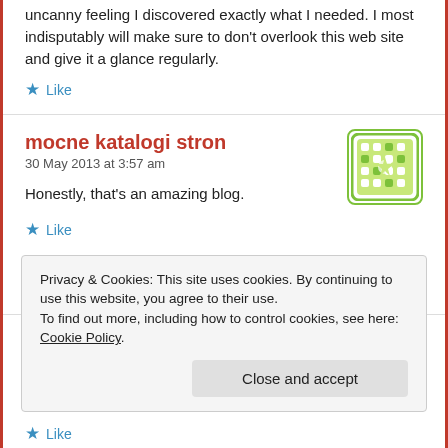uncanny feeling I discovered exactly what I needed. I most indisputably will make sure to don't overlook this web site and give it a glance regularly.
★ Like
mocne katalogi stron
30 May 2013 at 3:57 am
Honestly, that's an amazing blog.
★ Like
Privacy & Cookies: This site uses cookies. By continuing to use this website, you agree to their use.
To find out more, including how to control cookies, see here: Cookie Policy
Close and accept
★ Like